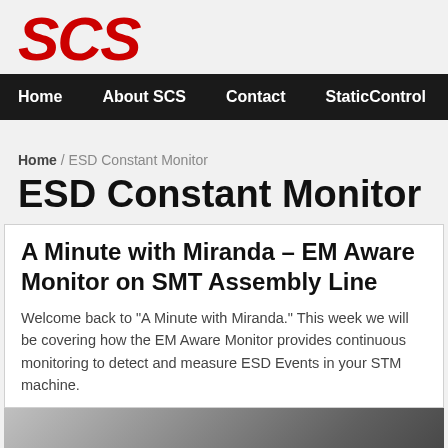SCS
Home | About SCS | Contact | StaticControl
Home / ESD Constant Monitor
ESD Constant Monitor
A Minute with Miranda – EM Aware Monitor on SMT Assembly Line
Welcome back to “A Minute with Miranda.” This week we will be covering how the EM Aware Monitor provides continuous monitoring to detect and measure ESD Events in your STM machine.
[Figure (screenshot): YouTube video thumbnail showing SCS logo and title 'SCS - A Minute with Miranda - EM...' with a video controls bar at the bottom]